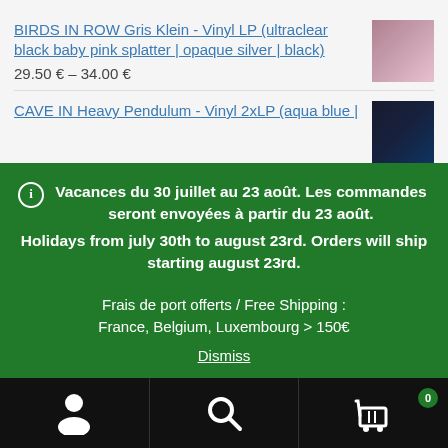BIRDS IN ROW Gris Klein - Vinyl LP (ultraclear black baby pink splatter | opaque silver | black)
29.50 € – 34.00 €
CAVE IN Heavy Pendulum - Vinyl 2xLP (aqua blue |
ℹ Vacances du 30 juillet au 23 août. Les commandes seront envoyées à partir du 23 août. Holidays from july 30th to august 23rd. Orders will ship starting august 23rd.
Frais de port offerts / Free Shipping :
France, Belgium, Luxembourg > 150€
Dismiss